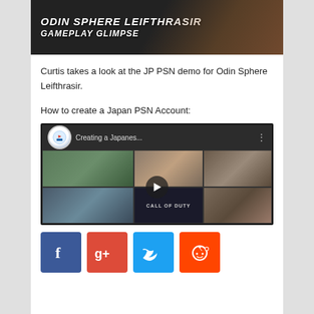[Figure (screenshot): Odin Sphere Leifthrasir Gameplay Glimpse video thumbnail with dark background and game character art]
Curtis takes a look at the JP PSN demo for Odin Sphere Leifthrasir.
How to create a Japan PSN Account:
[Figure (screenshot): YouTube video embed thumbnail titled 'Creating a Japanes...' showing PlayStation Store interface with game thumbnails and a play button]
[Figure (infographic): Row of social media share buttons: Facebook (blue), Google+ (red), Twitter (light blue), Reddit (orange)]